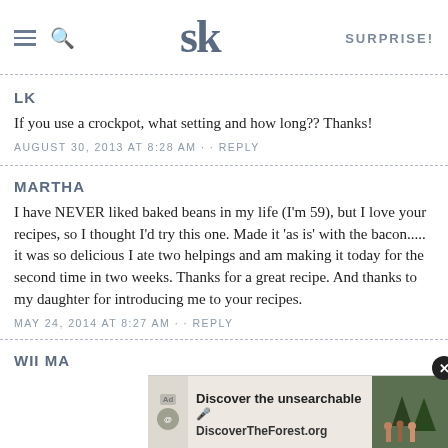SK | SURPRISE!
LK
If you use a crockpot, what setting and how long?? Thanks!
AUGUST 30, 2013 AT 8:28 AM · · REPLY
MARTHA
I have NEVER liked baked beans in my life (I'm 59), but I love your recipes, so I thought I'd try this one. Made it 'as is' with the bacon..... it was so delicious I ate two helpings and am making it today for the second time in two weeks. Thanks for a great recipe. And thanks to my daughter for introducing me to your recipes.
MAY 24, 2014 AT 8:27 AM · · REPLY
[Figure (screenshot): Advertisement banner: 'Discover the unsearchable / DiscoverTheForest.org' with forest photo and close button]
WILMA